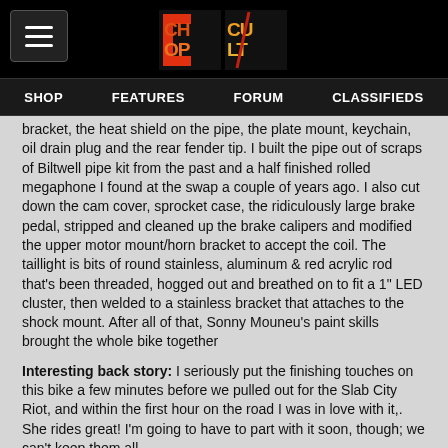[Figure (logo): ChopCult logo in red, orange and yellow on black background]
SHOP   FEATURES   FORUM   CLASSIFIEDS
bracket, the heat shield on the pipe, the plate mount, keychain, oil drain plug and the rear fender tip. I built the pipe out of scraps of Biltwell pipe kit from the past and a half finished rolled megaphone I found at the swap a couple of years ago. I also cut down the cam cover, sprocket case, the ridiculously large brake pedal, stripped and cleaned up the brake calipers and modified the upper motor mount/horn bracket to accept the coil. The taillight is bits of round stainless, aluminum & red acrylic rod that's been threaded, hogged out and breathed on to fit a 1" LED cluster, then welded to a stainless bracket that attaches to the shock mount. After all of that, Sonny Mouneu's paint skills brought the whole bike together
Interesting back story: I seriously put the finishing touches on this bike a few minutes before we pulled out for the Slab City Riot, and within the first hour on the road I was in love with it,. She rides great! I'm going to have to part with it soon, though; we can't keep them all